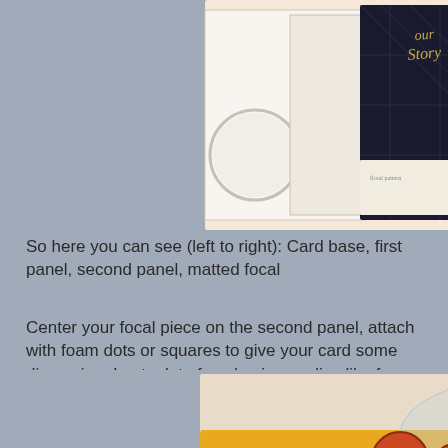[Figure (photo): Photo showing card making supplies: card base, first panel, second panel, and matted focal piece arranged left to right on a surface]
So here you can see (left to right): Card base, first panel, second panel, matted focal
Center your focal piece on the second panel, attach with foam dots or squares to give your card some dimension. I get a lot of my basic supplies like foam dots from Dollar Tree. They also sell one time use tape runners and double sided foam tape.
[Figure (photo): Photo of a yellow Scotch ATG tape gun/dispenser with orange and black tape rolls]